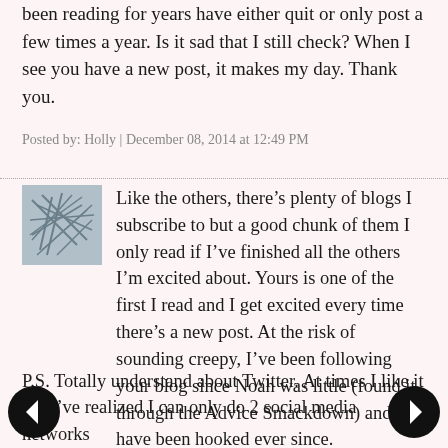been reading for years have either quit or only post a few times a year. Is it sad that I still check? When I see you have a new post, it makes my day. Thank you.
Posted by: Holly | December 08, 2014 at 12:49 PM
Like the others, there's plenty of blogs I subscribe to but a good chunk of them I only read if I've finished all the others I'm excited about. Yours is one of the first I read and I get excited every time there's a new post. At the risk of sounding creepy, I've been following your blog since Noah was little (found it through the Advice Smackdown) and have been hooked ever since.
P.S. Totally understand about Twitter. At times I like it but I've realized I can only do 2 social media networks